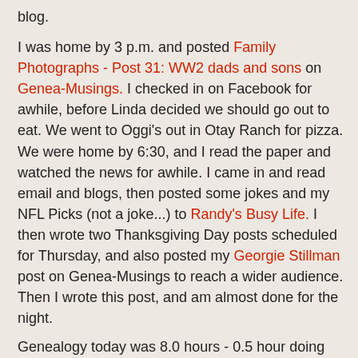blog.
I was home by 3 p.m. and posted Family Photographs - Post 31: WW2 dads and sons on Genea-Musings. I checked in on Facebook for awhile, before Linda decided we should go out to eat. We went to Oggi's out in Otay Ranch for pizza. We were home by 6:30, and I read the paper and watched the news for awhile. I came in and read email and blogs, then posted some jokes and my NFL Picks (not a joke...) to Randy's Busy Life. I then wrote two Thanksgiving Day posts scheduled for Thursday, and also posted my Georgie Stillman post on Genea-Musings to reach a wider audience. Then I wrote this post, and am almost done for the night.
Genealogy today was 8.0 hours - 0.5 hour doing email, 0.5 hour reading blogs, 0.5 hour on Facebook, 2.0 hours writing blog posts, and 4.5 hours on CVGS activities.
Randy Seaver at 9:19 PM    No comments:
TUESDAY, NOVEMBER 25, 2008